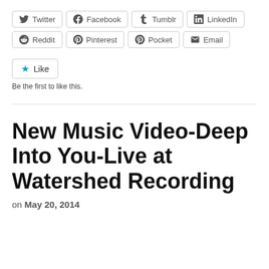[Figure (screenshot): Social share buttons row 1: Twitter, Facebook, Tumblr, LinkedIn]
[Figure (screenshot): Social share buttons row 2: Reddit, Pinterest, Pocket, Email]
[Figure (screenshot): Like button with star icon]
Be the first to like this.
New Music Video-Deep Into You-Live at Watershed Recording
on May 20, 2014